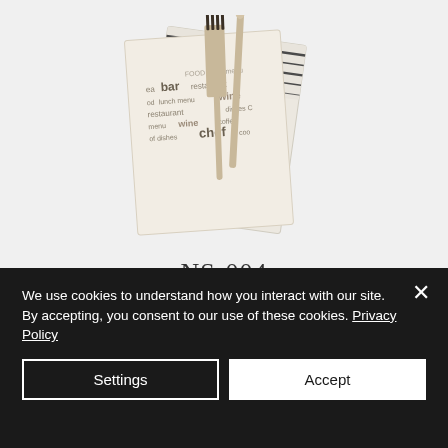[Figure (photo): Folded white napkin with cutlery (fork and knife/spoon) tucked inside, with text pattern printed on the napkin showing words like bar, restaurant, wine, chef, lunch menu, dishes, coffee]
NS-004
We use cookies to understand how you interact with our site. By accepting, you consent to our use of these cookies. Privacy Policy